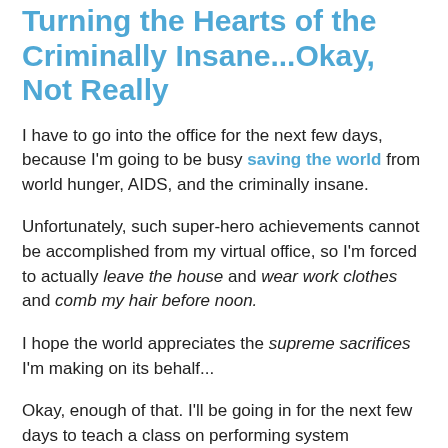Turning the Hearts of the Criminally Insane...Okay, Not Really
I have to go into the office for the next few days, because I'm going to be busy saving the world from world hunger, AIDS, and the criminally insane.
Unfortunately, such super-hero achievements cannot be accomplished from my virtual office, so I'm forced to actually leave the house and wear work clothes and comb my hair before noon.
I hope the world appreciates the supreme sacrifices I'm making on its behalf...
Okay, enough of that. I'll be going in for the next few days to teach a class on performing system engineering tasks in a competitive environment. It has a cheesy name, too, but that's the gist of it.
So I'll be scarce for a bit. I'll trust the regulars to smack down the trolls as appropriate and (as usual) drink all my beer and